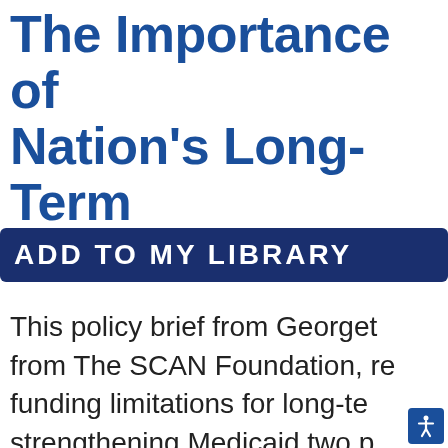The Importance of Nation's Long-Term
[Figure (other): ADD TO MY LIBRARY button — dark navy rounded rectangle with white uppercase text]
This policy brief from Georgetown, from The SCAN Foundation, re funding limitations for long-te strengthening Medicaid two p Medicare beneficiaries who al match for Medicaid long-term a federal commitment to b